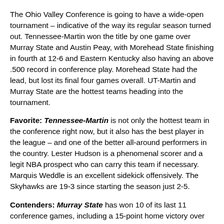The Ohio Valley Conference is going to have a wide-open tournament – indicative of the way its regular season turned out. Tennessee-Martin won the title by one game over Murray State and Austin Peay, with Morehead State finishing in fourth at 12-6 and Eastern Kentucky also having an above .500 record in conference play. Morehead State had the lead, but lost its final four games overall. UT-Martin and Murray State are the hottest teams heading into the tournament.
Favorite: Tennessee-Martin is not only the hottest team in the conference right now, but it also has the best player in the league – and one of the better all-around performers in the country. Lester Hudson is a phenomenal scorer and a legit NBA prospect who can carry this team if necessary. Marquis Weddle is an excellent sidekick offensively. The Skyhawks are 19-3 since starting the season just 2-5.
Contenders: Murray State has won 10 of its last 11 conference games, including a 15-point home victory over UT-Martin. They slow the pace of the game tremendously and force teams to adjust. Danero Thomas and Ivan Aska are a solid forward tandem, while Isacc Miles is the go-to-guy on the perimeter. This is a very balanced offensive team with a lot of options. Morehead State has lost its last four games, but it